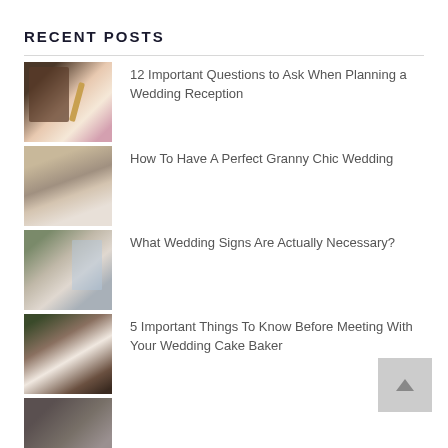RECENT POSTS
12 Important Questions to Ask When Planning a Wedding Reception
How To Have A Perfect Granny Chic Wedding
What Wedding Signs Are Actually Necessary?
5 Important Things To Know Before Meeting With Your Wedding Cake Baker